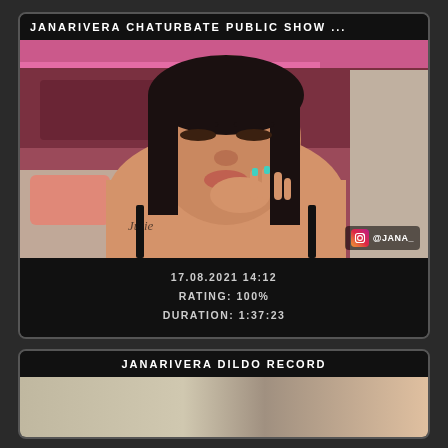JANARIVERA CHATURBATE PUBLIC SHOW ...
[Figure (photo): Thumbnail screenshot of a webcam show featuring a person with dark hair, tattoos on shoulder, hand raised near face. Instagram badge @JANA_ visible in bottom right. Date 17.08.2021 14:12, Rating 100%, Duration 1:37:23.]
17.08.2021 14:12
RATING: 100%
DURATION: 1:37:23
JANARIVERA DILDO RECORD
[Figure (photo): Partially visible thumbnail of a second video recording.]